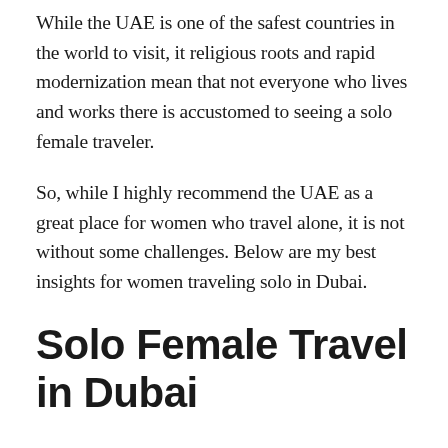While the UAE is one of the safest countries in the world to visit, it religious roots and rapid modernization mean that not everyone who lives and works there is accustomed to seeing a solo female traveler.
So, while I highly recommend the UAE as a great place for women who travel alone, it is not without some challenges. Below are my best insights for women traveling solo in Dubai.
Solo Female Travel in Dubai